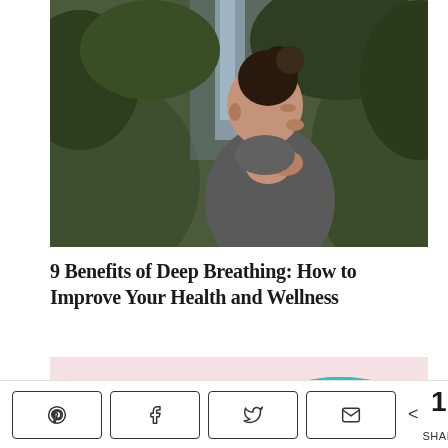[Figure (photo): A woman with her hair up, eyes closed, head tilted back slightly, hands clasped at her chest, standing outdoors near mossy rocks and a waterfall, wearing a dark grey top. Photo appears to be about deep breathing or mindfulness.]
9 Benefits of Deep Breathing: How to Improve Your Health and Wellness
[Figure (photo): Partial view of a donut with teal/turquoise frosting and colorful sprinkles on a pink background, partially cropped at the bottom of the page.]
< 11 SHARES with Pinterest, Facebook, Twitter, Email share buttons